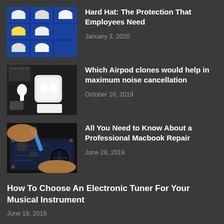[Figure (photo): Hard hats stored in blue cubby shelves]
Hard Hat: The Protection That Employees Need
January 3, 2020
[Figure (photo): Airpod clones on a white surface with accessories]
Which Airpod clones would help in maximum noise cancellation
October 16, 2019
[Figure (photo): Hands repairing a Macbook with screwdriver]
All You Need to Know About a Professional Macbook Repair
June 28, 2019
How To Choose An Electronic Tuner For Your Musical Instrument
June 19, 2019